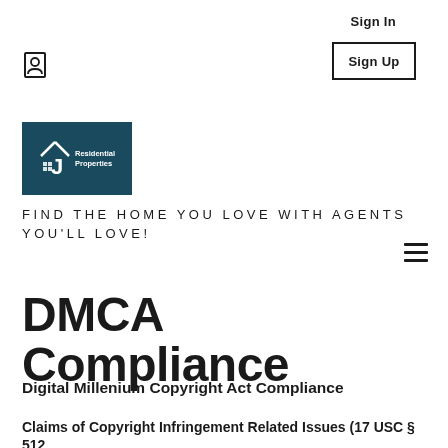Sign In
Sign Up
[Figure (logo): J Residential Properties logo - dark teal background with house/J icon and white text]
FIND THE HOME YOU LOVE WITH AGENTS YOU'LL LOVE!
DMCA Compliance
Digital Millenium Copyright Act Compliance
Claims of Copyright Infringement Related Issues (17 USC § 512